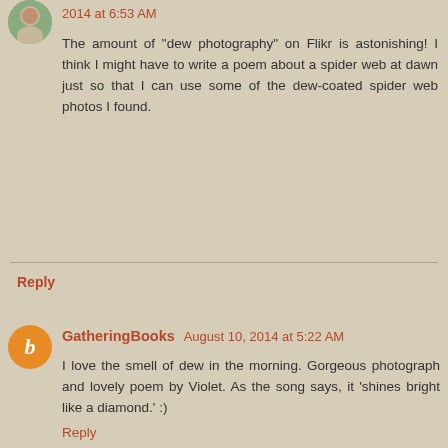2014 at 6:53 AM
The amount of "dew photography" on Flikr is astonishing! I think I might have to write a poem about a spider web at dawn just so that I can use some of the dew-coated spider web photos I found.
Reply
GatheringBooks August 10, 2014 at 5:22 AM
I love the smell of dew in the morning. Gorgeous photograph and lovely poem by Violet. As the song says, it 'shines bright like a diamond.' :)
Reply
▾ Replies
Michelle Heidenrich Barnes August 11, 2014 at 6:55 AM